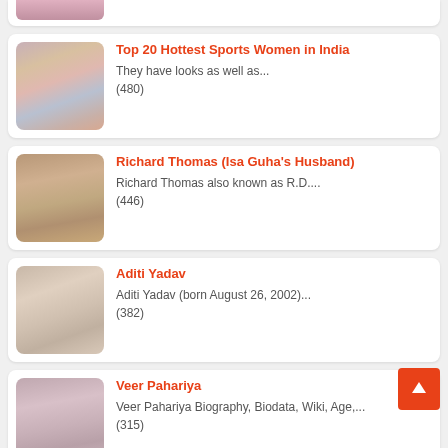(partial top card - image only visible)
Top 20 Hottest Sports Women in India - They have looks as well as... (480)
Richard Thomas (Isa Guha's Husband) - Richard Thomas also known as R.D.... (446)
Aditi Yadav - Aditi Yadav (born August 26, 2002)... (382)
Veer Pahariya - Veer Pahariya Biography, Biodata, Wiki, Age,.... (315)
Lakshyaraj Singh Mewar (partial bottom card)